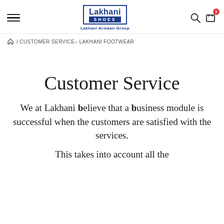[Figure (logo): Lakhani Shoes logo with Lakhani Armaan Group text]
/ CUSTOMER SERVICE– LAKHANI FOOTWEAR
Customer Service
We at Lakhani believe that a business module is successful when the customers are satisfied with the services.
This takes into account all the